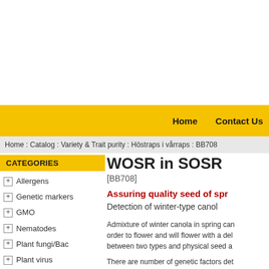Home    Contact Us
Home : Catalog : Variety & Trait purity : Höstraps i vårraps : BB708
CATEGORIES
Allergens
Genetic markers
GMO
Nematodes
Plant fungi/Bac
Plant virus
Species identity
Variety & Trait purity
WOSR in SOSR
[BB708]
Assuring quality seed of spr…
Detection of winter-type canol…
Admixture of winter canola in spring can… order to flower and will flower with a del… between two types and physical seed a…
There are number of genetic factors det…